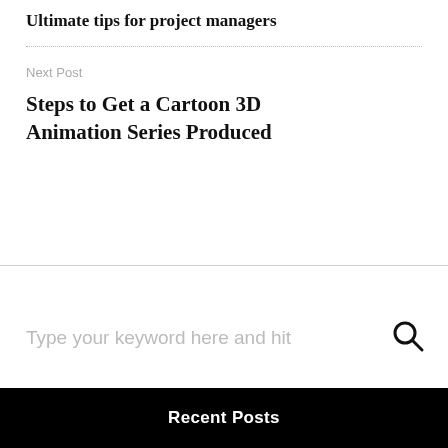Ultimate tips for project managers
Next Post
Steps to Get a Cartoon 3D Animation Series Produced
Type your keyword here and hit
Recent Posts